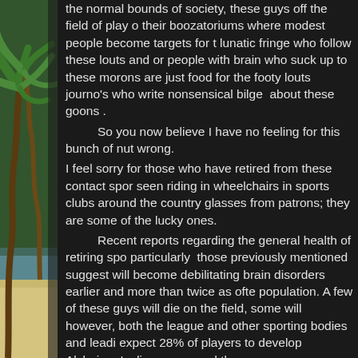[Figure (photo): Tropical beach scene with palm trees on the left side, showing green palm fronds and sandy/water background]
the normal bounds of society, these guys off the field of play o their boozatoriums where modest people become targets for t lunatic fringe who follow these louts and or people with brain who suck up to these morons are just food for the footy louts journo's who write nonsensical bilge  about these goons .

So you now believe I have no feeling for this bunch of nut wrong.
I feel sorry for those who have retired from these contact spor seen riding in wheelchairs in sports clubs around the country glasses from patrons; they are some of the lucky ones.

Recent reports regarding the general health of retiring spo particularly  those previously mentioned suggest will become debilitating brain disorders earlier and more than twice as ofte population. A few of these guys will die on the field, some will however, both the league and other sporting bodies and leadi expect 28% of players to develop Alzheimer's disease or mod than
that of the general population

My advice is; if you are a devotee to the silly games  keep the army if you seek violence, you may even qualify for an elu
Cassius Clay AKA Muhammad Ali wrote